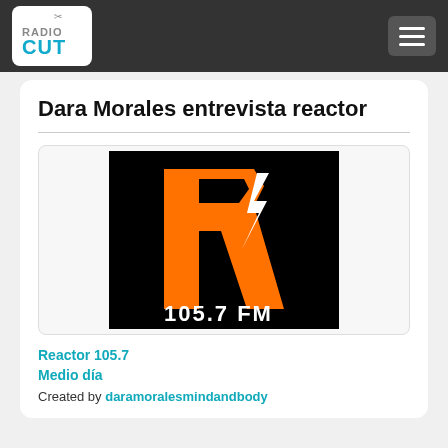RadioCut
Dara Morales entrevista reactor
[Figure (logo): Reactor 105.7 FM radio station logo — orange stylized R with lightning bolt on black background, text '105.7 FM' in white below]
Reactor 105.7
Medio día
Created by daramoralesmindandbody